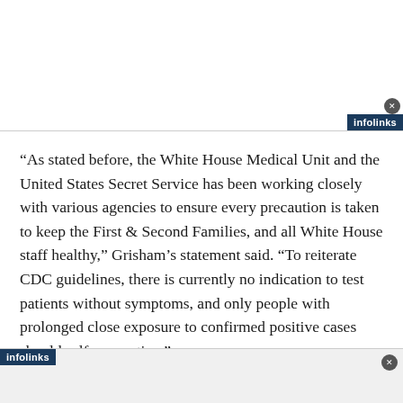[Figure (other): Top advertisement banner area with infolinks badge and close button]
“As stated before, the White House Medical Unit and the United States Secret Service has been working closely with various agencies to ensure every precaution is taken to keep the First & Second Families, and all White House staff healthy,” Grisham’s statement said. “To reiterate CDC guidelines, there is currently no indication to test patients without symptoms, and only people with prolonged close exposure to confirmed positive cases should self-quarantine.”
[Figure (other): Bottom advertisement banner area with infolinks badge and close button]